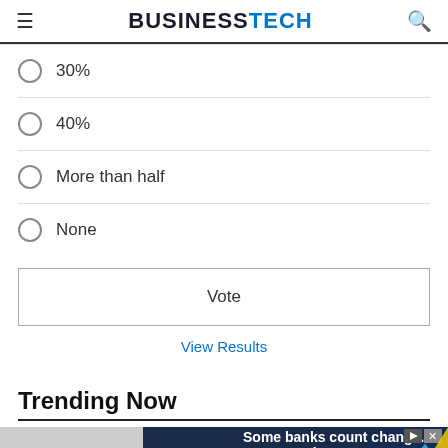BUSINESSTECH
30%
40%
More than half
None
Vote
View Results
Trending Now
[Figure (other): Capital One advertisement banner: 'Some banks count change. We create it.']